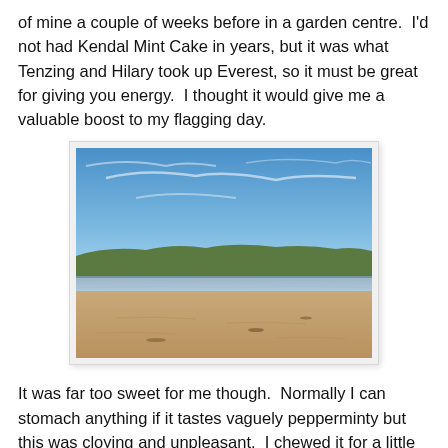of mine a couple of weeks before in a garden centre.  I'd not had Kendal Mint Cake in years, but it was what Tenzing and Hilary took up Everest, so it must be great for giving you energy.  I thought it would give me a valuable boost to my flagging day.
[Figure (photo): A wide sandy beach under a blue sky with scattered clouds. In the middle distance there is a low coastal headland with vegetation. The beach is flat and wet-looking near the waterline.]
It was far too sweet for me though.  Normally I can stomach anything if it tastes vaguely pepperminty but this was cloying and unpleasant.  I chewed it for a little while then folded it back up in the packet and pushed it to the bottom of my